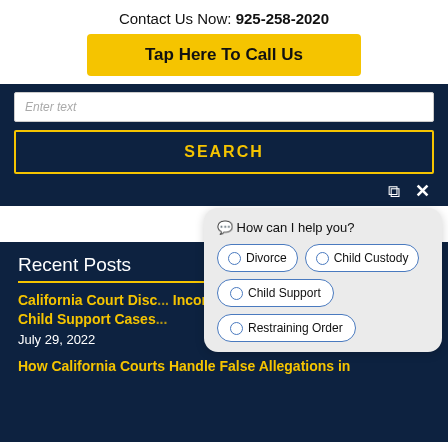Contact Us Now: 925-258-2020
Tap Here To Call Us
Enter text
SEARCH
[Figure (screenshot): Chat widget popup with options: Divorce, Child Custody, Child Support, Restraining Order]
Recent Posts
California Court Disc... Income in Child Support Cases
July 29, 2022
How California Courts Handle False Allegations in